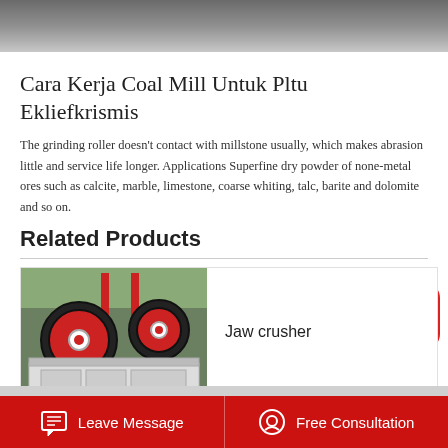[Figure (photo): Top portion of a photo showing industrial machine equipment, gray background]
Cara Kerja Coal Mill Untuk Pltu Ekliefkrismis
The grinding roller doesn't contact with millstone usually, which makes abrasion little and service life longer. Applications Superfine dry powder of none-metal ores such as calcite, marble, limestone, coarse whiting, talc, barite and dolomite and so on.
Related Products
[Figure (illustration): Red rounded-square scroll-to-top button icon with upward chevron]
[Figure (photo): Industrial jaw crusher machine in warehouse with large red circular wheels]
Jaw crusher
Leave Message   Free Consultation